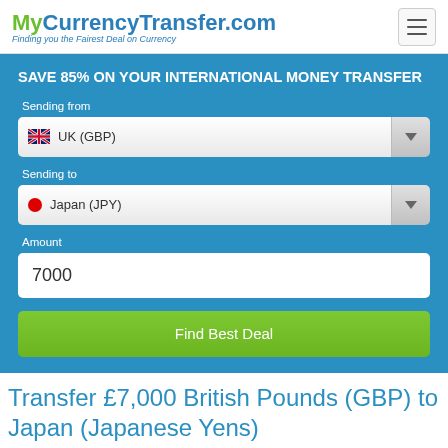MyCurrencyTransfer.com — Finding you the Fairest Deal on Currency
SAVE 85% ON YOUR INTERNATIONAL MONEY TRANSFER
Sending from
UK (GBP)
Sending to
Japan (JPY)
Amount
7000
Find Best Deal
Transfer £7,000 British Pounds (GBP) to Japan (Japanese Yens)